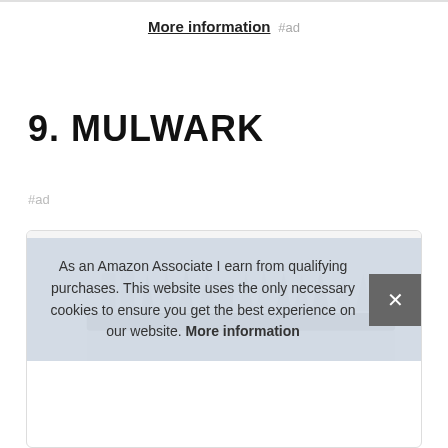More information #ad
9. MULWARK
#ad
[Figure (photo): Product photo of Mulwark screwdriver bit set showing multiple bits in a holder, partially visible.]
As an Amazon Associate I earn from qualifying purchases. This website uses the only necessary cookies to ensure you get the best experience on our website. More information